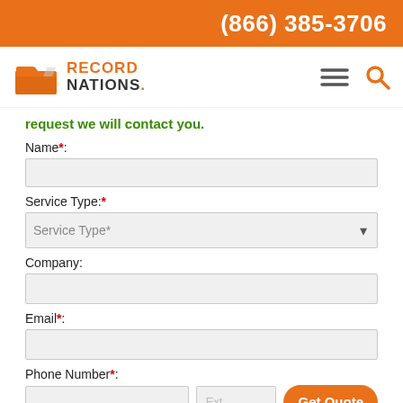(866) 385-3706
[Figure (logo): Record Nations logo with orange folder icon and text RECORD NATIONS.]
request we will contact you.
Name*:
Service Type:*
Company:
Email*:
Phone Number*:
Zip Code*: